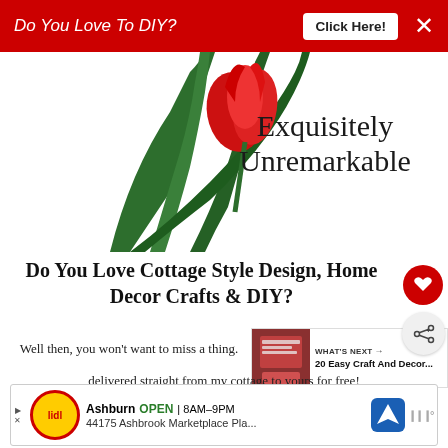Do You Love To DIY?  Click Here!  ×
[Figure (photo): Red tulip with green leaves partially visible, top portion of a decorative blog graphic]
Exquisitely Unremarkable
Do You Love Cottage Style Design, Home Decor Crafts & DIY?
Well then, you won't want to miss a thing. delivered straight from my cottage to yours for free!
[Figure (infographic): WHAT'S NEXT arrow panel with thumbnail showing book/craft image and text: 20 Easy Craft And Decor...]
[Figure (infographic): Lidl store ad: Ashburn OPEN 8AM–9PM, 44175 Ashbrook Marketplace Pla..., with navigation icon and brand logo]